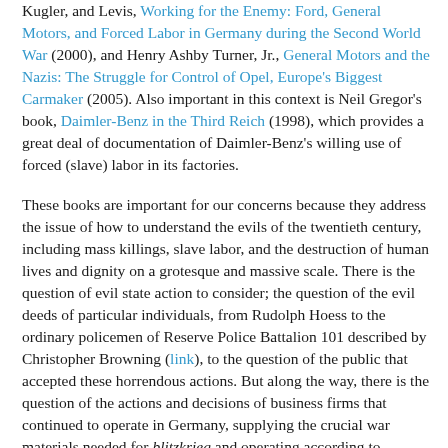Kugler, and Levis, Working for the Enemy: Ford, General Motors, and Forced Labor in Germany during the Second World War (2000), and Henry Ashby Turner, Jr., General Motors and the Nazis: The Struggle for Control of Opel, Europe's Biggest Carmaker (2005). Also important in this context is Neil Gregor's book, Daimler-Benz in the Third Reich (1998), which provides a great deal of documentation of Daimler-Benz's willing use of forced (slave) labor in its factories.
These books are important for our concerns because they address the issue of how to understand the evils of the twentieth century, including mass killings, slave labor, and the destruction of human lives and dignity on a grotesque and massive scale. There is the question of evil state action to consider; the question of the evil deeds of particular individuals, from Rudolph Hoess to the ordinary policemen of Reserve Police Battalion 101 described by Christopher Browning (link), to the question of the public that accepted these horrendous actions. But along the way, there is the question of the actions and decisions of business firms that continued to operate in Germany, supplying the crucial war materials needed for blitzkrieg and operating according to